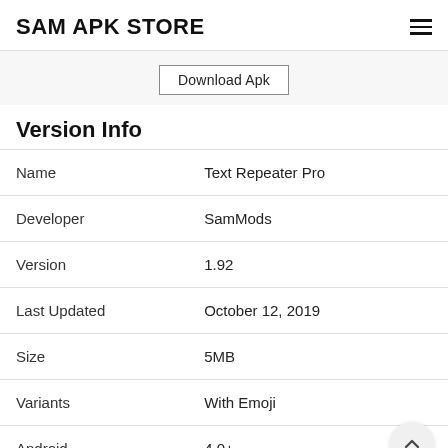SAM APK STORE
Download Apk
Version Info
|  |  |
| --- | --- |
| Name | Text Repeater Pro |
| Developer | SamMods |
| Version | 1.92 |
| Last Updated | October 12, 2019 |
| Size | 5MB |
| Variants | With Emoji |
| Android | 4.0+ |